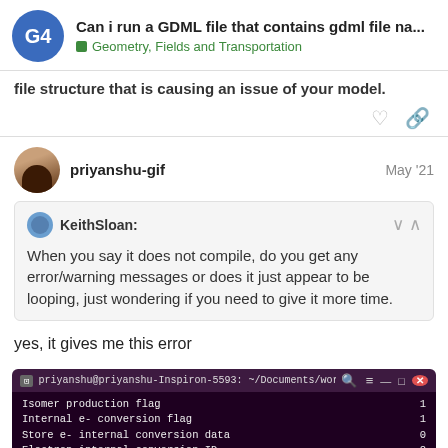Can i run a GDML file that contains gdml file na... | Geometry, Fields and Transportation
file structure that is causing an issue of your model.
priyanshu-gif  May '21
KeithSloan: When you say it does not compile, do you get any error/warning messages or does it just appear to be looping, just wondering if you need to give it more time.
yes, it gives me this error
[Figure (screenshot): Terminal window showing Ubuntu terminal output with lines: Isomer production flag 1, Internal e- conversion flag 1, Store e- internal conversion data 0, Electron internal conversion ID 2, Correlated gamma emission flag 0, Max ZI for sampling of angular correlations 1. Page indicator 6/17 overlaid.]